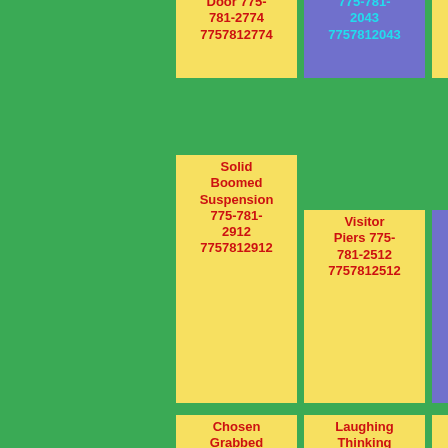Door 775-781-2774 7757812774
775-781-2043 7757812043
775-781-2200 7757812200
Solid Boomed Suspension 775-781-2912 7757812912
Visitor Piers 775-781-2512 7757812512
Bright Miss 775-781-2027 7757812027
Chosen Grabbed 775-781-2679 7757812679
Laughing Thinking Find 775-781-2331 7757812331
Meet 775-781-2381 7757812381
We Trusted 775-781-2313
Arm Youknowwho 775-781-2055
Lined 775-781-2980